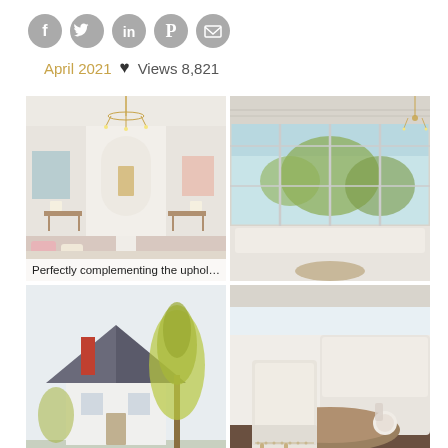[Figure (other): Row of five social media icon buttons (Facebook, Twitter, LinkedIn, Pinterest, Email) as grey circles]
April 2021 ♥ Views 8,821
[Figure (photo): Elegant white living room with chandelier, arched niche, console tables, and pastel soft furnishings. Caption: Perfectly complementing the upholstery, a pair...]
[Figure (photo): Bright room with large multi-pane windows, roman shade, and chandelier with garden view outside]
[Figure (photo): Exterior of white house with dark slate roof and tall pine tree against pale sky]
[Figure (photo): Dining area with oval Louis XVI table, upholstered chair with nailhead trim, and banquette seating. Caption: An oval Louis XVI table with a wa...]